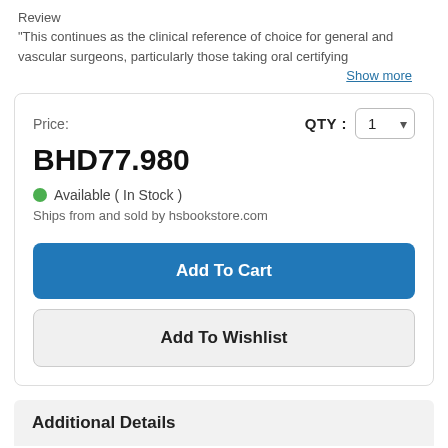Review
"This continues as the clinical reference of choice for general and vascular surgeons, particularly those taking oral certifying
Show more
Price:
BHD77.980
Available (In Stock)
Ships from and sold by hsbookstore.com
QTY : 1
Add To Cart
Add To Wishlist
Additional Details